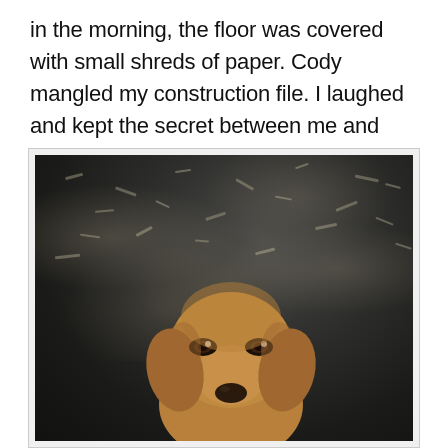in the morning, the floor was covered with small shreds of paper. Cody mangled my construction file. I laughed and kept the secret between me and Cody.
[Figure (photo): A golden retriever dog lying on a dark floor covered with small shreds of paper. The dog is looking at the camera with a somewhat guilty or sleepy expression.]